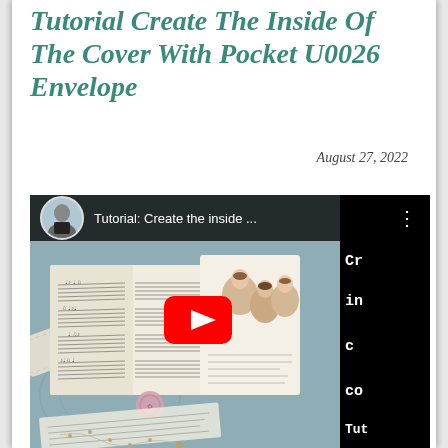Tutorial Create The Inside Of The Cover With Pocket U0026 Envelope
August 27, 2022
[Figure (screenshot): YouTube video thumbnail showing a tutorial titled 'Tutorial: Create the inside ...' with a crafting/junk journal scene featuring music sheets, lace, vintage image cards, a wax seal, and a YouTube play button overlay. The right side shows partial text 'Cr... in... c... Tut' on a black panel.]